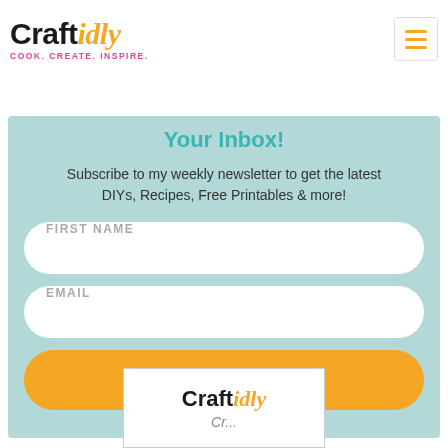[Figure (logo): Craftidly logo with tagline COOK. CREATE. INSPIRE.]
Your Inbox!
Subscribe to my weekly newsletter to get the latest DIYs, Recipes, Free Printables & more!
[Figure (screenshot): FIRST NAME input field (rounded rectangle, white background)]
[Figure (screenshot): EMAIL input field (rounded rectangle, white background)]
[Figure (screenshot): SUBSCRIBE button (orange rounded rectangle)]
[Figure (logo): Craftidly logo partial view at bottom of page]